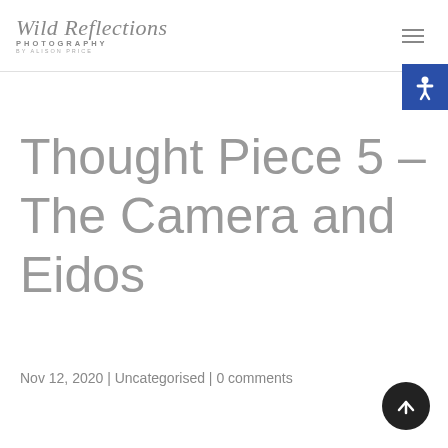Wild Reflections Photography by Alison Price
Thought Piece 5 – The Camera and Eidos
Nov 12, 2020 | Uncategorised | 0 comments